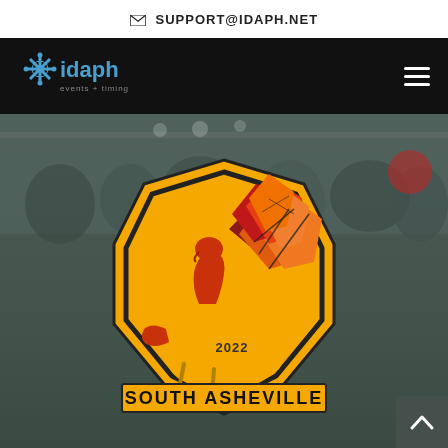✉ SUPPORT@IDAPH.NET
[Figure (logo): IDAPH Events + Timing logo with blue snowflake/star icon and blue text on black navigation bar]
[Figure (photo): Blurred background photo of a race event crowd at start/finish line area, muted green-gray tones]
[Figure (illustration): Geometric low-poly turkey logo in red, orange, and yellow with '2022' text and 'SOUTH ASHEVILLE' banner at the bottom]
SOUTH ASHEVILLE